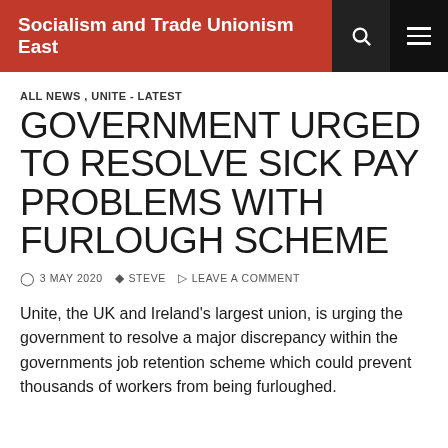Socialism and Trade Unionism East
ALL NEWS , UNITE - LATEST
GOVERNMENT URGED TO RESOLVE SICK PAY PROBLEMS WITH FURLOUGH SCHEME
3 MAY 2020  STEVE  LEAVE A COMMENT
Unite, the UK and Ireland's largest union, is urging the government to resolve a major discrepancy within the governments job retention scheme which could prevent thousands of workers from being furloughed.